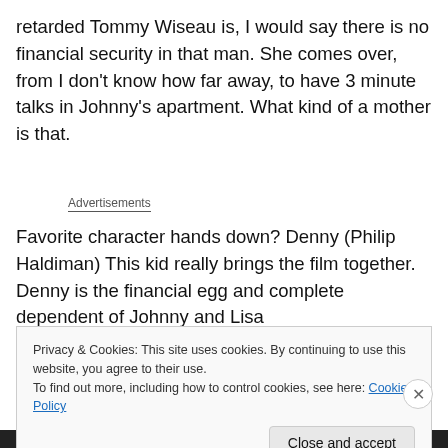retarded Tommy Wiseau is, I would say there is no financial security in that man. She comes over, from I don't know how far away, to have 3 minute talks in Johnny's apartment. What kind of a mother is that.
Advertisements
Favorite character hands down? Denny (Philip Haldiman) This kid really brings the film together. Denny is the financial egg and complete dependent of Johnny and Lisa
Privacy & Cookies: This site uses cookies. By continuing to use this website, you agree to their use.
To find out more, including how to control cookies, see here: Cookie Policy
Close and accept